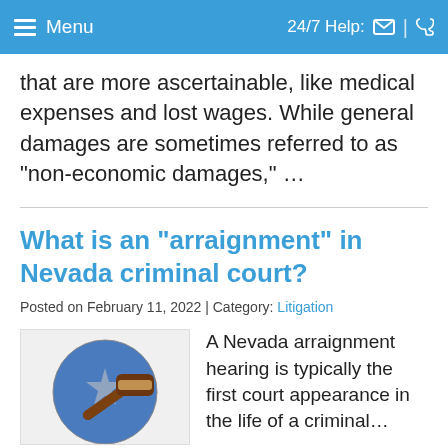Menu | 24/7 Help:
that are more ascertainable, like medical expenses and lost wages. While general damages are sometimes referred to as “non-economic damages,” …
What is an “arraignment” in Nevada criminal court?
Posted on February 11, 2022 | Category: Litigation
[Figure (photo): Photo of a gavel on a Nevada state flag background]
A Nevada arraignment hearing is typically the first court appearance in the life of a criminal…